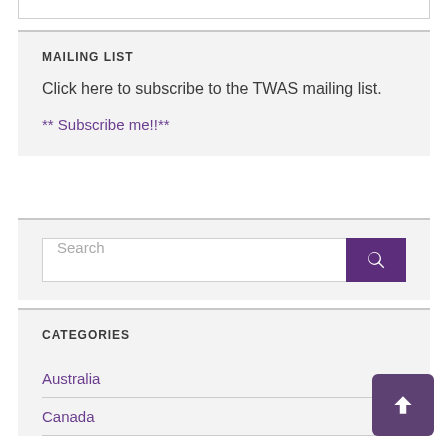MAILING LIST
Click here to subscribe to the TWAS mailing list.
** Subscribe me!!**
[Figure (other): Search bar with purple search button containing a magnifying glass icon]
CATEGORIES
Australia
Canada